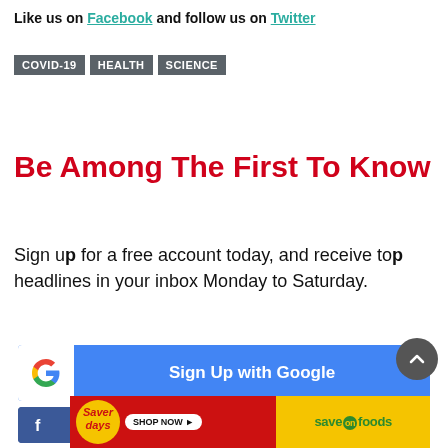Like us on Facebook and follow us on Twitter
COVID-19
HEALTH
SCIENCE
Be Among The First To Know
Sign up for a free account today, and receive top headlines in your inbox Monday to Saturday.
[Figure (other): Sign Up with Google button - blue button with Google G icon on white background on left, white text 'Sign Up with Google' on blue background]
[Figure (other): Sign Up with Facebook button - partially visible blue Facebook button]
[Figure (other): Save On Foods Saver Days advertisement banner - red section with Saver Days badge and Shop Now button, yellow section with Save On Foods logo]